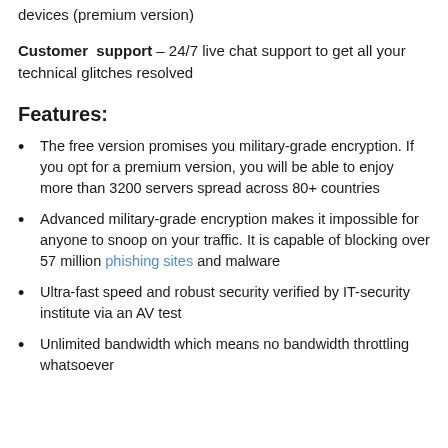devices (premium version)
Customer support – 24/7 live chat support to get all your technical glitches resolved
Features:
The free version promises you military-grade encryption. If you opt for a premium version, you will be able to enjoy more than 3200 servers spread across 80+ countries
Advanced military-grade encryption makes it impossible for anyone to snoop on your traffic. It is capable of blocking over 57 million phishing sites and malware
Ultra-fast speed and robust security verified by IT-security institute via an AV test
Unlimited bandwidth which means no bandwidth throttling whatsoever